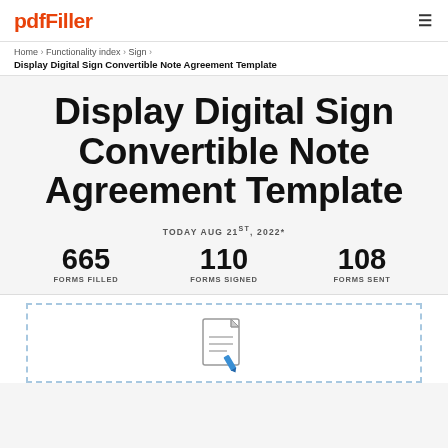pdfFiller
Home › Functionality index › Sign ›
Display Digital Sign Convertible Note Agreement Template
Display Digital Sign Convertible Note Agreement Template
TODAY AUG 21ST, 2022*
665
FORMS FILLED
110
FORMS SIGNED
108
FORMS SENT
[Figure (illustration): Document icon with lines and a blue pen, inside a dashed border box]